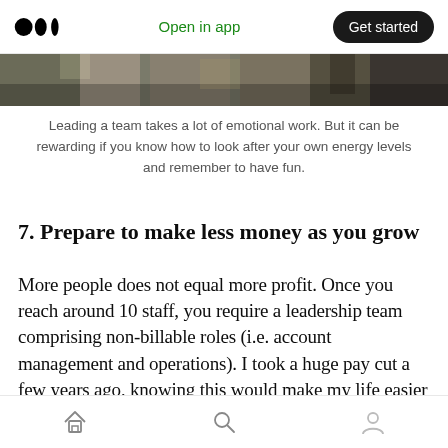Open in app | Get started
[Figure (photo): Partial photo strip at top of article, appears to show people, cropped]
Leading a team takes a lot of emotional work. But it can be rewarding if you know how to look after your own energy levels and remember to have fun.
7. Prepare to make less money as you grow
More people does not equal more profit. Once you reach around 10 staff, you require a leadership team comprising non-billable roles (i.e. account management and operations). I took a huge pay cut a few years ago, knowing this would make my life easier later on. I have no regrets. Accepting your finances will be up and down is just a part of
Home | Search | Profile